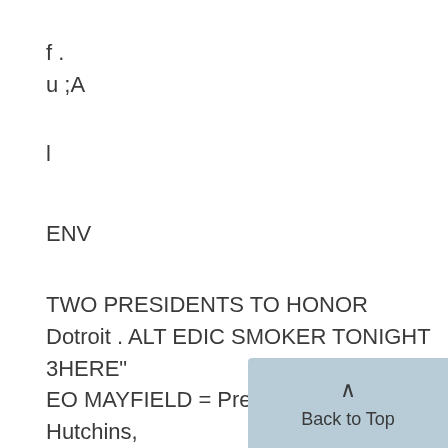f .
u ;A
l
ENV
TWO PRESIDENTS TO HONOR
Dotroit . ALT EDIC SMOKER TONIGHT
3HERE"
EO MAYFIELD = President Harry B. Hutchins,
Pres-
mnmwuum-int Ident-elect Marion L. Burton,